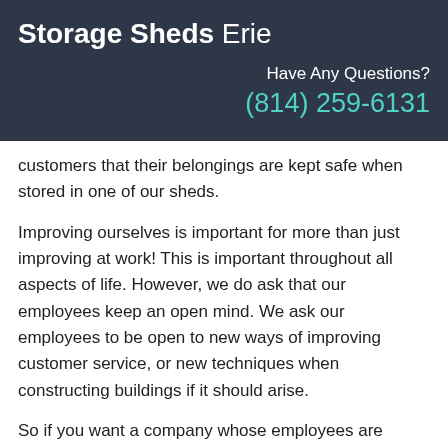Storage Sheds Erie
Have Any Questions?
(814) 259-6131
customers that their belongings are kept safe when stored in one of our sheds.
Improving ourselves is important for more than just improving at work! This is important throughout all aspects of life. However, we do ask that our employees keep an open mind. We ask our employees to be open to new ways of improving customer service, or new techniques when constructing buildings if it should arise.
So if you want a company whose employees are